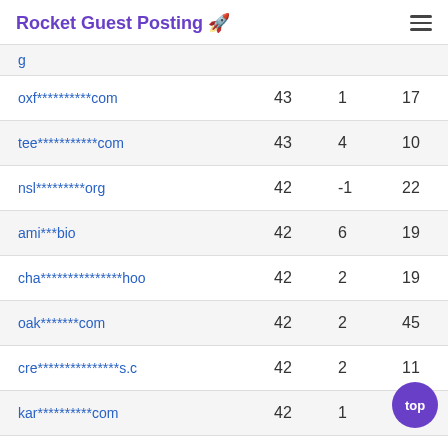Rocket Guest Posting 🚀
| Domain | DA | Trend | TF |
| --- | --- | --- | --- |
| oxf**********com | 43 | 1 | 17 |
| tee***********com | 43 | 4 | 10 |
| nsl*********org | 42 | -1 | 22 |
| ami***bio | 42 | 6 | 19 |
| cha***************hoo | 42 | 2 | 19 |
| oak*******com | 42 | 2 | 45 |
| cre***************s.c | 42 | 2 | 11 |
| kar**********com | 42 | 1 | 12 |
| tea***************ly. | 42 | 1 | 25 |